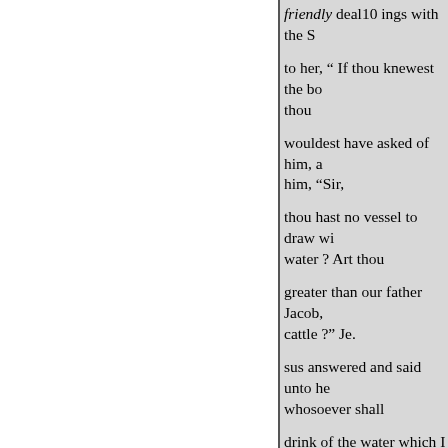friendly deal10 ings with the S
to her, “ If thou knewest the bo thou
wouldest have asked of him, a him, “Sir,
thou hast no vessel to draw w water ? Art thou
greater than our father Jacob, cattle ?” Je.
sus answered and said unto he whosoever shall
drink of the water which I sha will be in
him a well of water springing this water, 16 that I thirst not,
unto her, Go, call thine husban husband.”
Jesus saith unto her, “ Thou ha husbands; and he whom